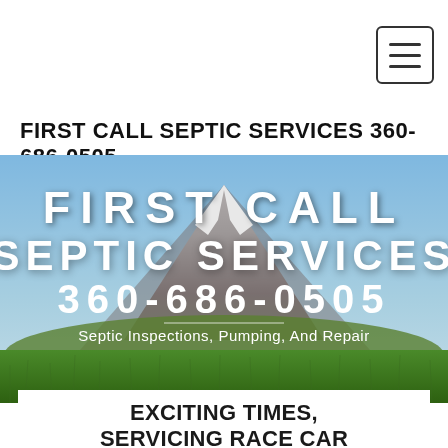[Figure (screenshot): Hamburger menu button (three horizontal lines) in a rounded square border, top right corner of nav bar]
FIRST CALL SEPTIC SERVICES 360-686-0505
[Figure (photo): Hero banner image of Mount Rainier with snow cap and blue sky above green fields, with overlaid white bold text: FIRST CALL SEPTIC SERVICES 360-686-0505, and subtitle: Septic Inspections, Pumping, And Repair]
EXCITING TIMES, SERVICING RACE CAR DRIVER'S PLACE: